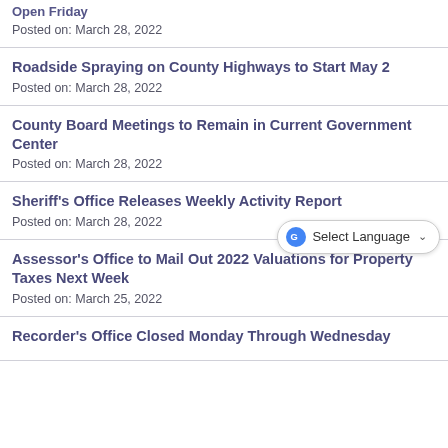Open Friday
Posted on: March 28, 2022
Roadside Spraying on County Highways to Start May 2
Posted on: March 28, 2022
County Board Meetings to Remain in Current Government Center
Posted on: March 28, 2022
Sheriff's Office Releases Weekly Activity Report
Posted on: March 28, 2022
Assessor's Office to Mail Out 2022 Valuations for Property Taxes Next Week
Posted on: March 25, 2022
Recorder's Office Closed Monday Through Wednesday